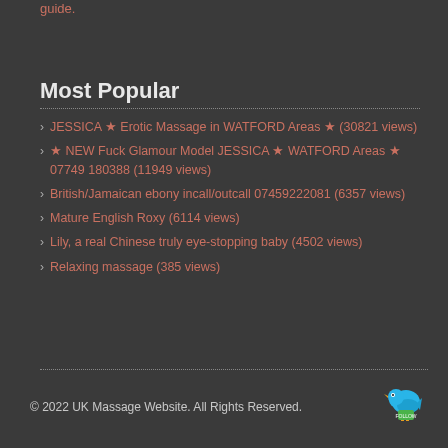guide.
Most Popular
JESSICA ★ Erotic Massage in WATFORD Areas ★ (30821 views)
★ NEW Fuck Glamour Model JESSICA ★ WATFORD Areas ★ 07749 180388 (11949 views)
British/Jamaican ebony incall/outcall 07459222081 (6357 views)
Mature English Roxy (6114 views)
Lily, a real Chinese truly eye-stopping baby (4502 views)
Relaxing massage (385 views)
© 2022 UK Massage Website. All Rights Reserved.